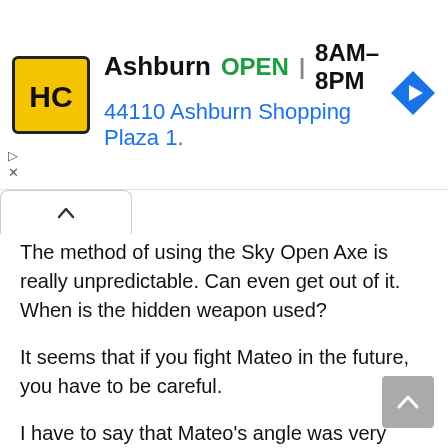[Figure (screenshot): Advertisement banner for HC store in Ashburn showing logo, OPEN status, hours 8AM-8PM, and address 44110 Ashburn Shopping Plaza 1.]
The method of using the Sky Open Axe is really unpredictable. Can even get out of it. When is the hidden weapon used?
It seems that if you fight Mateo in the future, you have to be careful.
I have to say that Mateo's angle was very precise, and he saw the Kaitian axe flying towards Elisa, just avoiding Elsa in front of him.
What skill is this?